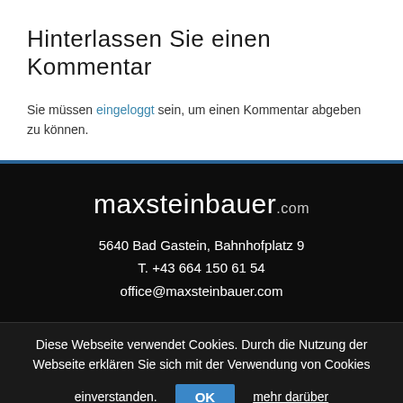Hinterlassen Sie einen Kommentar
Sie müssen eingeloggt sein, um einen Kommentar abgeben zu können.
maxsteinbauer.com
5640 Bad Gastein, Bahnhofplatz 9
T. +43 664 150 61 54
office@maxsteinbauer.com
Diese Webseite verwendet Cookies. Durch die Nutzung der Webseite erklären Sie sich mit der Verwendung von Cookies einverstanden.
OK
mehr darüber